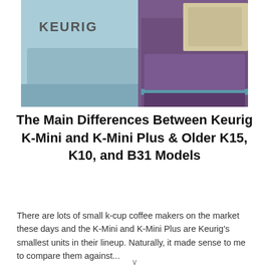[Figure (photo): Photo of two Keurig coffee makers side by side — a light blue/teal one on the left with KEURIG text, and a purple one on the right with a K-cup pod tray visible.]
The Main Differences Between Keurig K-Mini and K-Mini Plus & Older K15, K10, and B31 Models
There are lots of small k-cup coffee makers on the market these days and the K-Mini and K-Mini Plus are Keurig's smallest units in their lineup. Naturally, it made sense to me to compare them against...
CONTINUE READING